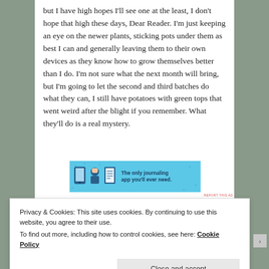but I have high hopes I'll see one at the least, I don't hope that high these days, Dear Reader. I'm just keeping an eye on the newer plants, sticking pots under them as best I can and generally leaving them to their own devices as they know how to grow themselves better than I do. I'm not sure what the next month will bring, but I'm going to let the second and third batches do what they can, I still have potatoes with green tops that went weird after the blight if you remember. What they'll do is a real mystery.
[Figure (infographic): Advertisement banner with light blue background showing three icons (a smartphone, a character with dark hair, and a notepad) and text: 'The only journaling app you'll ever need.']
REPORT THIS AD
Privacy & Cookies: This site uses cookies. By continuing to use this website, you agree to their use.
To find out more, including how to control cookies, see here: Cookie Policy
Close and accept